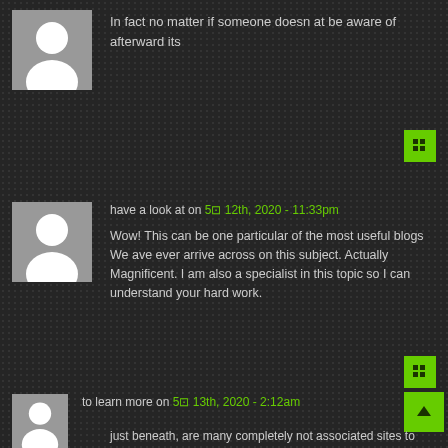[Figure (illustration): Gray avatar placeholder icon (person silhouette)]
In fact no matter if someone doesn at be aware of afterward its
[Figure (illustration): Green square reply button with grid icon]
[Figure (illustration): Gray avatar placeholder icon (person silhouette)]
have a look at on 5⊡ 12th, 2020 - 11:33pm
Wow! This can be one particular of the most useful blogs We ave ever arrive across on this subject. Actually Magnificent. I am also a specialist in this topic so I can understand your hard work.
[Figure (illustration): Green square reply button with grid icon]
[Figure (illustration): Gray avatar placeholder icon (person silhouette)]
to learn more on 5⊡ 13th, 2020 - 2:12am
[Figure (illustration): Green square scroll-to-top button with up arrow]
just beneath, are many completely not associated sites to ours, proceeding the further worker, they are